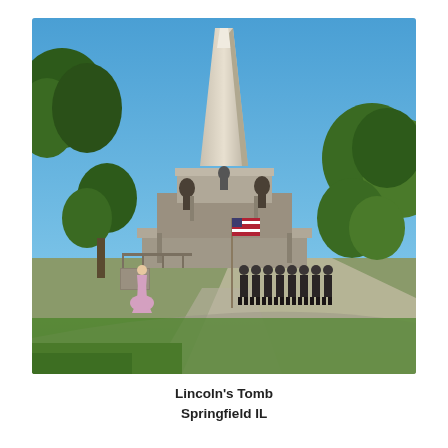[Figure (photo): Outdoor photograph of Lincoln's Tomb in Springfield, Illinois. A tall obelisk monument rises against a clear blue sky. Trees are visible on both sides. In the foreground, a group of military/honor guard personnel in dark uniforms stand at attention holding an American flag. A person in a period dress is visible on the left side. A pathway curves to the right.]
Lincoln's Tomb
Springfield IL